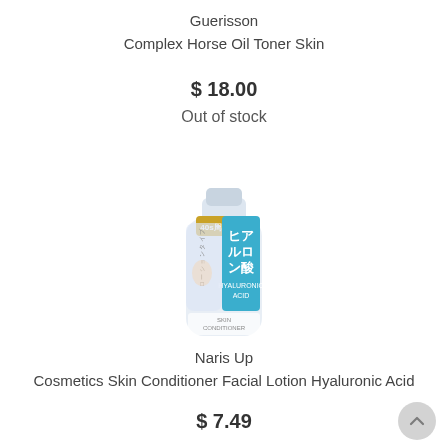Guerisson
Complex Horse Oil Toner Skin
$ 18.00
Out of stock
[Figure (photo): Product photo of Naris Up Cosmetics Skin Conditioner Facial Lotion Hyaluronic Acid bottle with Japanese text and blue label]
Naris Up
Cosmetics Skin Conditioner Facial Lotion Hyaluronic Acid
$ 7.49